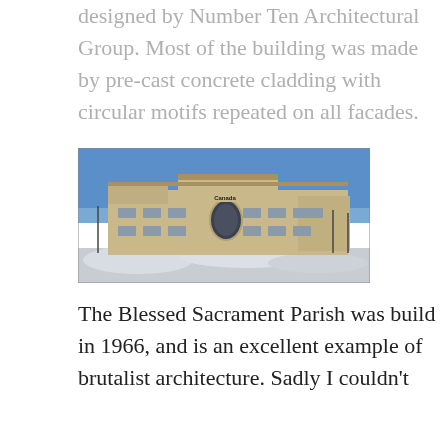designed by Number Ten Architectural Group. Most of the building was made by pre-cast concrete cladding with circular motifs repeated on all facades.
[Figure (photo): Exterior photograph of a large government building in winter. The building is light tan/beige with pre-cast concrete cladding, multiple stories, a circular dark window/motif, a Canada wordmark sign, and snow piled in the foreground against a clear blue sky.]
The Blessed Sacrament Parish was build in 1966, and is an excellent example of brutalist architecture. Sadly I couldn't